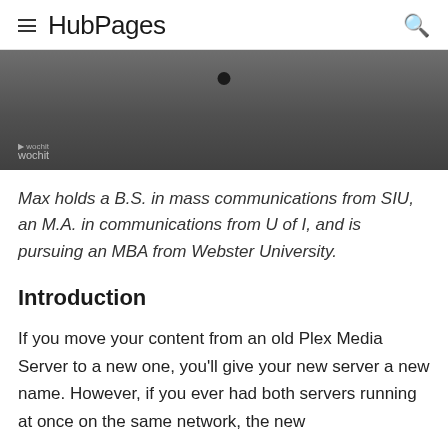HubPages
[Figure (screenshot): Dark grey video thumbnail with a small black dot/circle at top center and 'wochit' watermark text at bottom left]
Max holds a B.S. in mass communications from SIU, an M.A. in communications from U of I, and is pursuing an MBA from Webster University.
Introduction
If you move your content from an old Plex Media Server to a new one, you'll give your new server a new name. However, if you ever had both servers running at once on the same network, the new